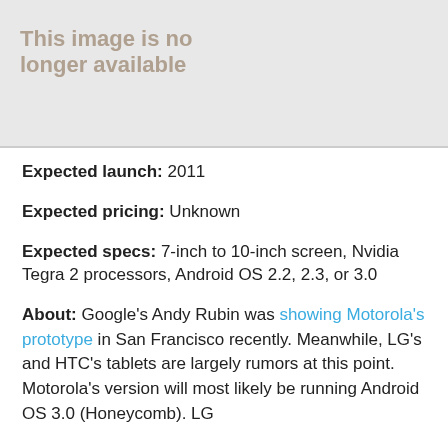[Figure (illustration): Image placeholder with text 'This image is no longer available' and a stylized illustration of a person on the right side]
Expected launch: 2011
Expected pricing: Unknown
Expected specs: 7-inch to 10-inch screen, Nvidia Tegra 2 processors, Android OS 2.2, 2.3, or 3.0
About: Google's Andy Rubin was showing Motorola's prototype in San Francisco recently. Meanwhile, LG's and HTC's tablets are largely rumors at this point. Motorola's version will most likely be running Android OS 3.0 (Honeycomb). LG